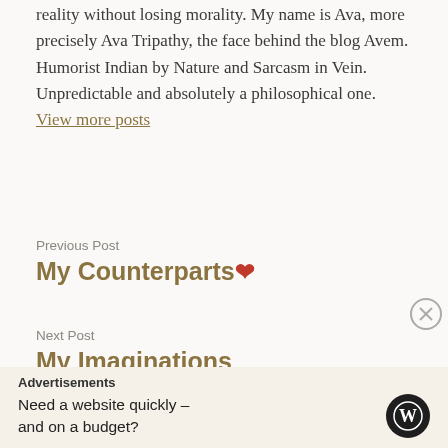reality without losing morality. My name is Ava, more precisely Ava Tripathy, the face behind the blog Avem. Humorist Indian by Nature and Sarcasm in Vein. Unpredictable and absolutely a philosophical one. View more posts
Previous Post
My Counterparts ❤
Next Post
My Imaginations
Advertisements
Need a website quickly – and on a budget?